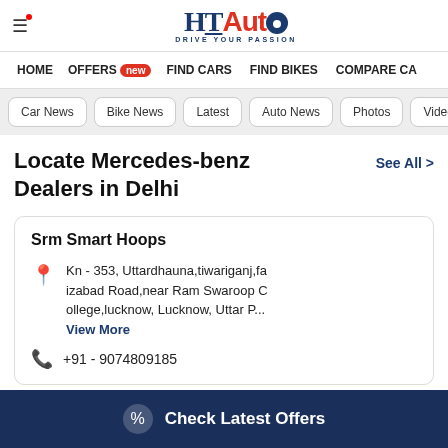HT Auto - Drive Your Passion
HOME  OFFERS new  FIND CARS  FIND BIKES  COMPARE CA
Car News  Bike News  Latest  Auto News  Photos  Videos
Locate Mercedes-benz Dealers in Delhi
See All >
Srm Smart Hoops
Kn - 353, Uttardhauna,tiwariganj,faizabad Road,near Ram Swaroop College,lucknow, Lucknow, Uttar P...
View More
+91 - 9074809185
Check Latest Offers